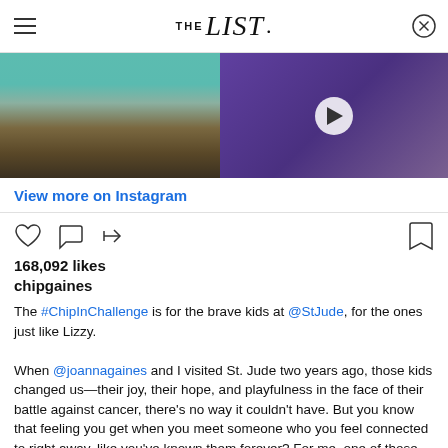THE list
[Figure (photo): Two-panel image: left panel shows people in colorful clothing, right panel shows a young girl against a purple background with a video play button overlay]
View more on Instagram
[Figure (infographic): Instagram action icons: heart (like), comment bubble, share arrow on left; bookmark icon on right]
168,092 likes
chipgaines
The #ChipInChallenge is for the brave kids at @StJude, for the ones just like Lizzy.

When @joannagaines and I visited St. Jude two years ago, those kids changed us—their joy, their hope, and playfulness in the face of their battle against cancer, there's no way it couldn't have. But you know that feeling you get when you meet someone who you feel connected to right away, like you've known them forever? For me, one of those people was Lizzy.